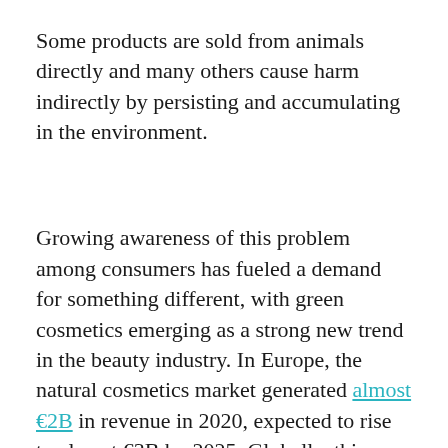Some products are sold from animals directly and many others cause harm indirectly by persisting and accumulating in the environment.
Growing awareness of this problem among consumers has fueled a demand for something different, with green cosmetics emerging as a strong new trend in the beauty industry. In Europe, the natural cosmetics market generated almost €2B in revenue in 2020, expected to rise to almost €3B by 2025. Globally, this market is predicted to be worth €46B ($48B) by 2025.
Consumers are increasingly seeking